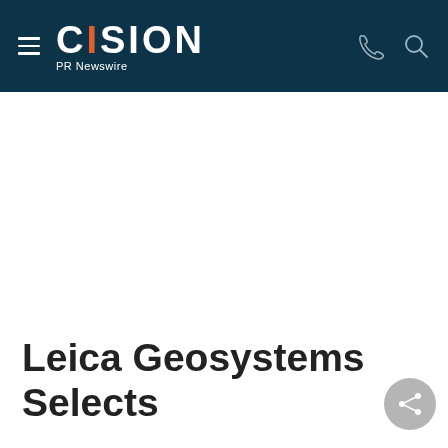CISION PR Newswire
Leica Geosystems Selects